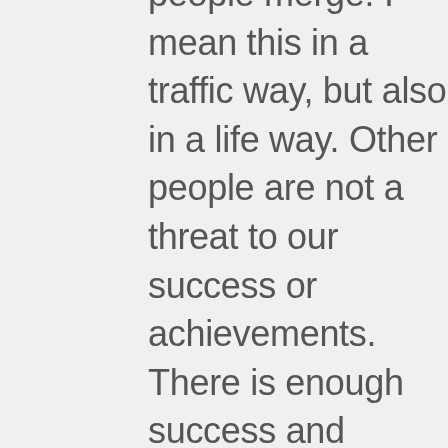people merge! I mean this in a traffic way, but also in a life way. Other people are not a threat to our success or achievements. There is enough success and goodness to go around. We need to stop pushing other people out and let them join us on our journey.